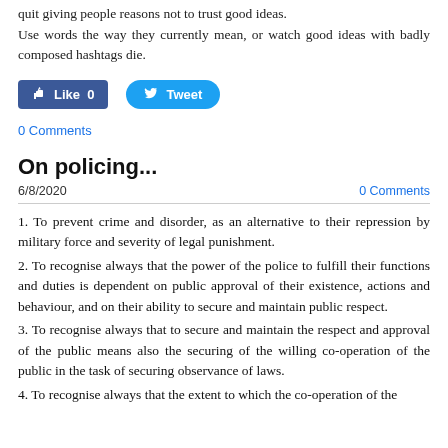quit giving people reasons not to trust good ideas. Use words the way they currently mean, or watch good ideas with badly composed hashtags die.
[Figure (other): Facebook Like button (blue, count 0) and Twitter Tweet button (blue rounded)]
0 Comments
On policing...
6/8/2020
0 Comments
1. To prevent crime and disorder, as an alternative to their repression by military force and severity of legal punishment.
2. To recognise always that the power of the police to fulfill their functions and duties is dependent on public approval of their existence, actions and behaviour, and on their ability to secure and maintain public respect.
3. To recognise always that to secure and maintain the respect and approval of the public means also the securing of the willing co-operation of the public in the task of securing observance of laws.
4. To recognise always that the extent to which the co-operation of the